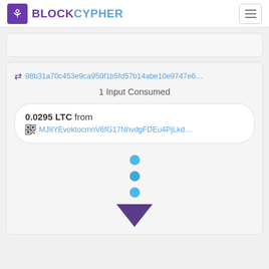BLOCKCYPHER
98b31a70c453e9ca950f1b5fd57b14abe10e9747e6…
1 Input Consumed
0.0295 LTC from MJ8YEvoktocmnV6fG17NhvdgFDEu4PjLkd…
[Figure (infographic): Three blue dots vertically arranged followed by a purple downward-pointing triangle arrow]